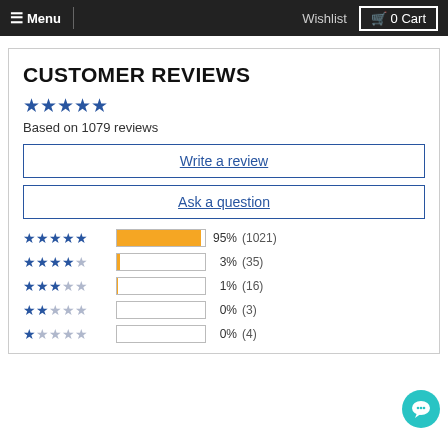≡ Menu | Wishlist  🛒 0 Cart
CUSTOMER REVIEWS
Based on 1079 reviews
Write a review
Ask a question
[Figure (bar-chart): Rating distribution]